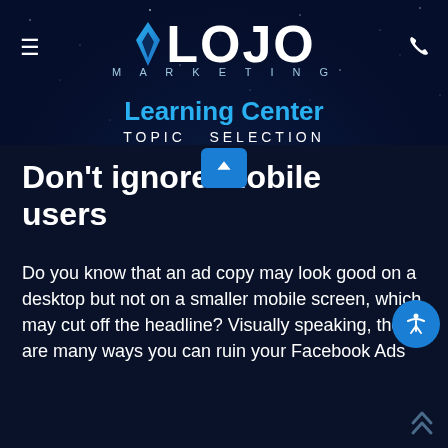LOJO MARKETING — Learning Center — TOPIC SELECTION
Don't ignore mobile users
Do you know that an ad copy may look good on a desktop but not on a smaller mobile screen, which may cut off the headline? Visually speaking, there are many ways you can ruin your Facebook Ads